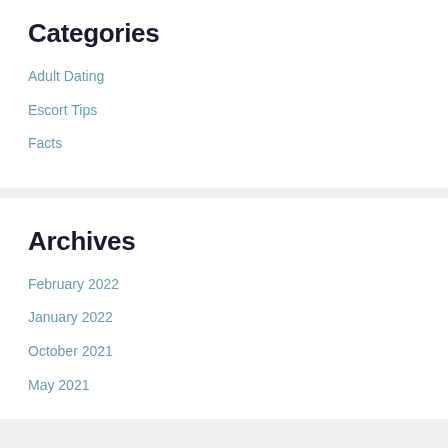Categories
Adult Dating
Escort Tips
Facts
Archives
February 2022
January 2022
October 2021
May 2021